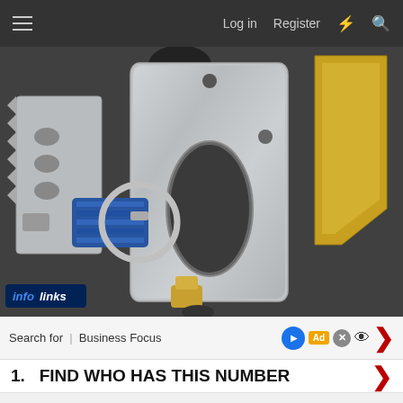≡   Log in   Register   ⚡   🔍
[Figure (photo): Close-up photo of machined metal parts including a silver aluminum plate with an oval cutout, a smaller perforated silver plate on the left, a gold/yellow angled bracket on the right, and a blue hose clamp with metal ring assembly in the lower left, all laid out on a dark surface. An 'infolinks' watermark badge appears in the lower-left corner of the image.]
Search for  |  Business Focus
1.   FIND WHO HAS THIS NUMBER